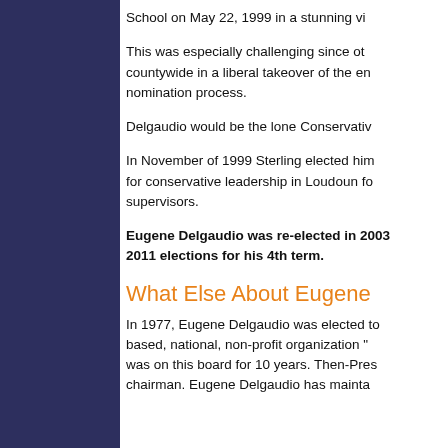School on May 22, 1999 in a stunning vic
This was especially challenging since other candidates won countywide in a liberal takeover of the entire nomination process.
Delgaudio would be the lone Conservativ
In November of 1999 Sterling elected him for conservative leadership in Loudoun for supervisors.
Eugene Delgaudio was re-elected in 2003 2011 elections for his 4th term.
What Else About Eugene
In 1977, Eugene Delgaudio was elected to based, national, non-profit organization was on this board for 10 years. Then-Pres chairman. Eugene Delgaudio has mainta